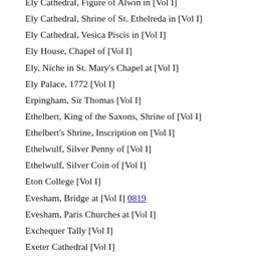Ely Cathedral, Figure of Alwin in [Vol I]
Ely Cathedral, Shrine of St. Ethelreda in [Vol I]
Ely Cathedral, Vesica Piscis in [Vol I]
Ely House, Chapel of [Vol I]
Ely, Niche in St. Mary's Chapel at [Vol I]
Ely Palace, 1772 [Vol I]
Erpingham, Sir Thomas [Vol I]
Ethelbert, King of the Saxons, Shrine of [Vol I]
Ethelbert's Shrine, Inscription on [Vol I]
Ethelwulf, Silver Penny of [Vol I]
Ethelwulf, Silver Coin of [Vol I]
Eton College [Vol I]
Evesham, Bridge at [Vol I] 0819
Evesham, Paris Churches at [Vol I]
Exchequer Tally [Vol I]
Exeter Cathedral [Vol I]